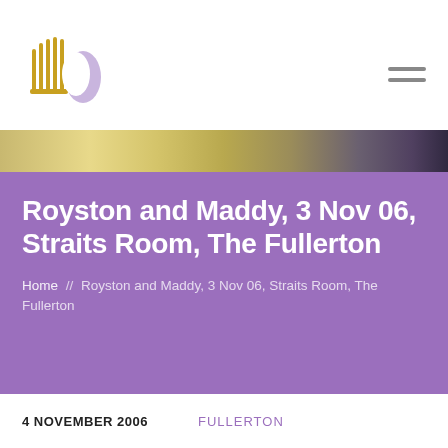[Figure (logo): A logo with golden harp-like vertical lines and a purple/lavender crescent shape beside it]
[Figure (photo): A shimmering gold/silver textured photo strip with a dark figure partially visible on the right]
Royston and Maddy, 3 Nov 06, Straits Room, The Fullerton
Home // Royston and Maddy, 3 Nov 06, Straits Room, The Fullerton
4 NOVEMBER 2006   FULLERTON